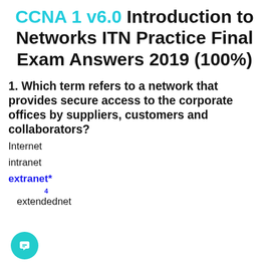CCNA 1 v6.0 Introduction to Networks ITN Practice Final Exam Answers 2019 (100%)
1. Which term refers to a network that provides secure access to the corporate offices by suppliers, customers and collaborators?
Internet
intranet
extranet*
extendednet